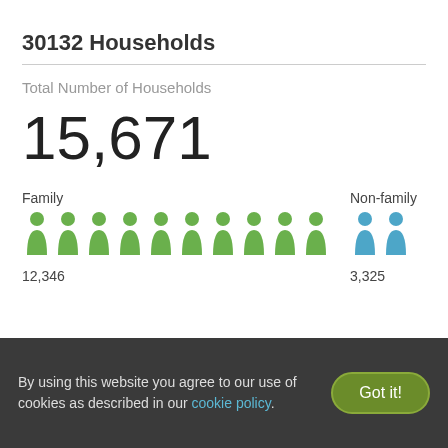30132 Households
Total Number of Households
15,671
[Figure (infographic): Infographic showing family vs non-family households. 10 green person figures labeled Family with count 12,346, and 2 blue person figures labeled Non-family with count 3,325.]
By using this website you agree to our use of cookies as described in our cookie policy.